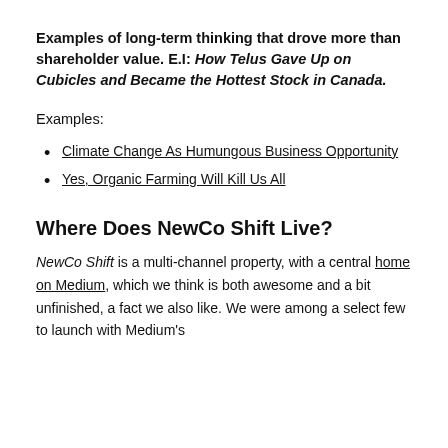Examples of long-term thinking that drove more than shareholder value. E.I: How Telus Gave Up on Cubicles and Became the Hottest Stock in Canada.
Examples:
Climate Change As Humungous Business Opportunity
Yes, Organic Farming Will Kill Us All
Where Does NewCo Shift Live?
NewCo Shift is a multi-channel property, with a central home on Medium, which we think is both awesome and a bit unfinished, a fact we also like. We were among a select few to launch with Medium's